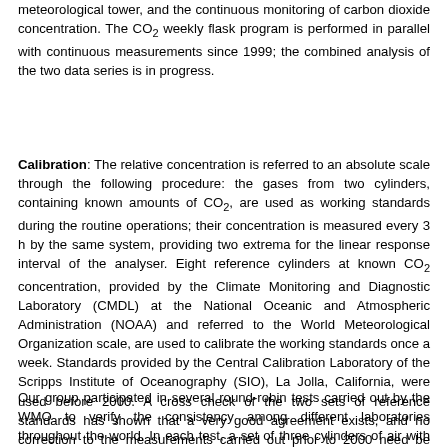meteorological tower, and the continuous monitoring of carbon dioxide concentration. The CO2 weekly flask program is performed in parallel with continuous measurements since 1999; the combined analysis of the two data series is in progress.
Calibration: The relative concentration is referred to an absolute scale through the following procedure: the gases from two cylinders, containing known amounts of CO2, are used as working standards during the routine operations; their concentration is measured every 3 h by the same system, providing two extrema for the linear response interval of the analyser. Eight reference cylinders at known CO2 concentration, provided by the Climate Monitoring and Diagnostic Laboratory (CMDL) at the National Oceanic and Atmospheric Administration (NOAA) and referred to the World Meteorological Organization scale, are used to calibrate the working standards once a week. Standards provided by the Central Calibration Laboratory of the Scripps Institute of Oceanography (SIO), La Jolla, California, were used before 2000. A cross check of the two sets of reference standards has shown that a very good agreement exists, and no correction to the measurements carried out prior to 2000 need be applied. The CO2 concentration of the eight reference cylinders has been determined by comparison with primary standards, whose concentration was measured by an absolute method.
Our group participated in several round-robin tests carried out by the WMO to verify the consistency among different laboratories throughout the world. In each test, a set of three cylinders of air with unknown carbon dioxide concentrations were circulated and independently determined by the different laboratories. In the